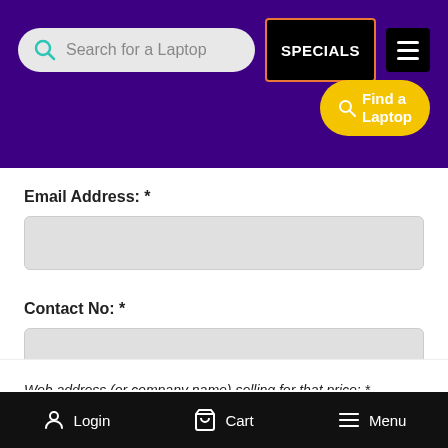Search for a Laptop | SPECIALS | Menu
[Figure (screenshot): Find a Laptop button (yellow, rounded)]
Email Address: *
Contact No: *
Price you found it for: *
Our Price: R40,999.00
Web address (or company name) selling for that price: *
Login  Cart  Menu